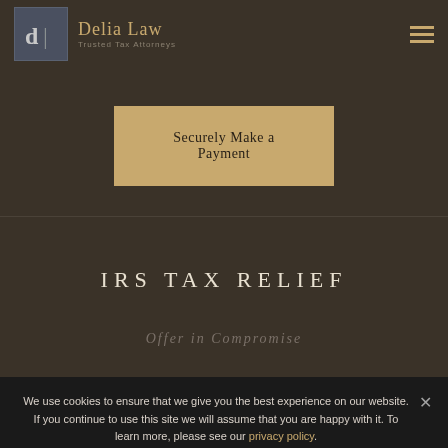Delia Law — Trusted Tax Attorneys
Securely Make a Payment
IRS TAX RELIEF
Offer in Compromise
We use cookies to ensure that we give you the best experience on our website. If you continue to use this site we will assume that you are happy with it. To learn more, please see our privacy policy.
Ok